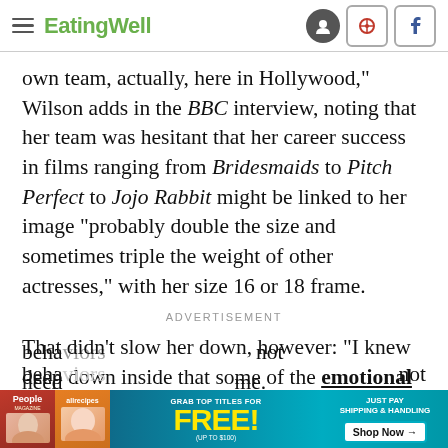EatingWell
own team, actually, here in Hollywood," Wilson adds in the BBC interview, noting that her team was hesitant that her career success in films ranging from Bridesmaids to Pitch Perfect to Jojo Rabbit might be linked to her image "probably double the size and sometimes triple the weight of other actresses," with her size 16 or 18 frame.
ADVERTISEMENT
That didn't slow her down, however: "I knew deep down inside that some of the emotional eating behaviors...not need...some.
[Figure (advertisement): Magazine subscription ad with People and allrecipes magazines, yellow FREE text on cyan background, Shop Now button]